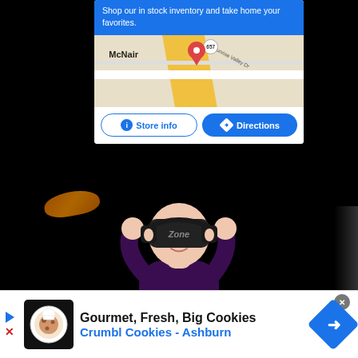[Figure (screenshot): Google Maps ad card with blue header text 'Shop our in stock inventory and take home your favorites', a map showing McNair area with route 657 and Sunrise Valley Dr, and buttons for Store info and Directions]
[Figure (screenshot): Dark scene with animated character wearing a VR headset labeled 'Zone', hands raised to head, purple shirt, against black background with orange object upper left]
[Figure (screenshot): Bottom banner ad: Gourmet, Fresh, Big Cookies - Crumbl Cookies - Ashburn, with Crumbl logo, play/close buttons, and directions icon]